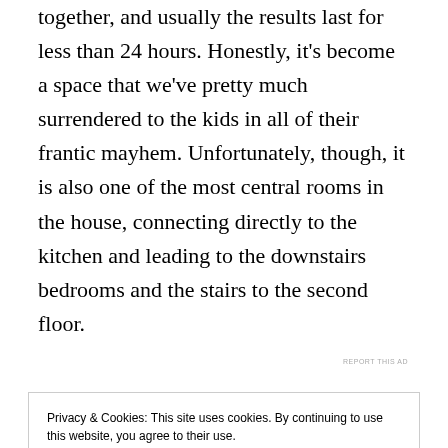together, and usually the results last for less than 24 hours. Honestly, it's become a space that we've pretty much surrendered to the kids in all of their frantic mayhem. Unfortunately, though, it is also one of the most central rooms in the house, connecting directly to the kitchen and leading to the downstairs bedrooms and the stairs to the second floor.
[Figure (other): WordPress advertisement banner: 'Professionally designed sites in less than a week' with WordPress logo]
REPORT THIS AD
bag. Clothes that normally get piled up on the couch
Privacy & Cookies: This site uses cookies. By continuing to use this website, you agree to their use. To find out more, including how to control cookies, see here: Cookie Policy